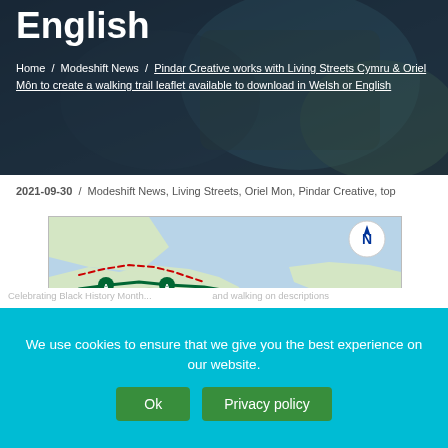English
Home / Modeshift News / Pindar Creative works with Living Streets Cymru & Oriel Môn to create a walking trail leaflet available to download in Welsh or English
2021-09-30 / Modeshift News, Living Streets, Oriel Mon, Pindar Creative, top
[Figure (map): A walking trail map showing the coastal area around Trearddur, with marked trail routes in green and red dashed lines, parking symbols, and a north arrow compass in the top right.]
We use cookies to ensure that we give you the best experience on our website.
Ok   Privacy policy
Celebrating Black History Month... and walking on descriptions